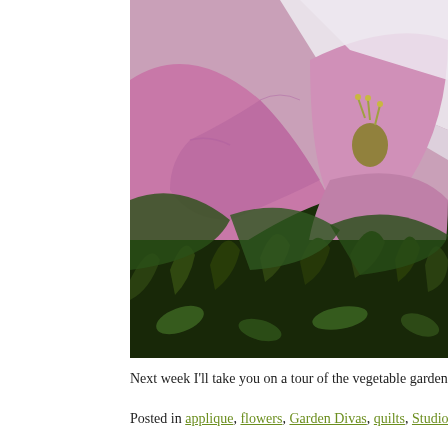[Figure (photo): Close-up macro photograph of a pink flower with white striped petals and visible stamens, surrounded by dark green foliage and grass.]
Next week I'll take you on a tour of the vegetable garden, beware of m
Posted in applique, flowers, Garden Divas, quilts, Studio | 4 Commen